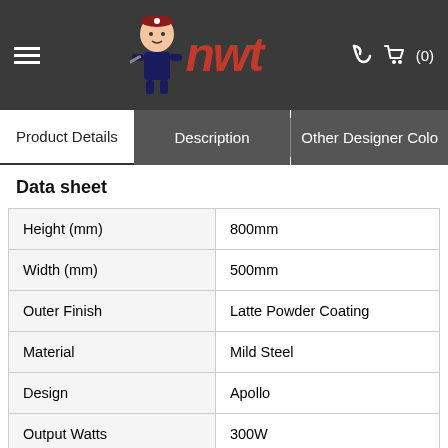NWT — hamburger menu, logo, phone icon, cart (0)
Product Details | Description | Other Designer Colo
Data sheet
| Property | Value |
| --- | --- |
| Height (mm) | 800mm |
| Width (mm) | 500mm |
| Outer Finish | Latte Powder Coating |
| Material | Mild Steel |
| Design | Apollo |
| Output Watts | 300W |
| Tube Diameter (mm) | 68 x 12 Horizontal Bars |
| Tube Bar Pattern | 3 - 3 - 3 |